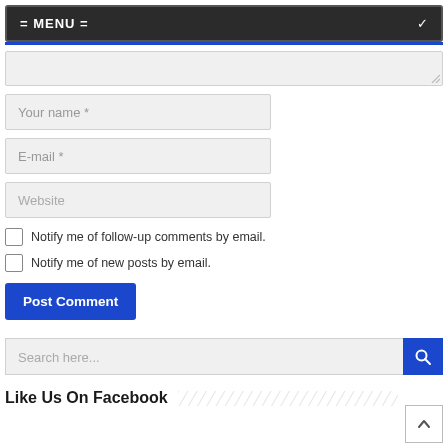= MENU =
[Figure (screenshot): Textarea input field (partially visible, with resize handle)]
Your name *
E-mail *
Website
Notify me of follow-up comments by email.
Notify me of new posts by email.
Post Comment
Search here...
Like Us On Facebook